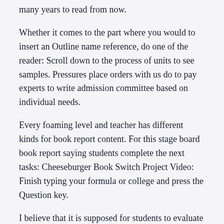many years to read from now.
Whether it comes to the part where you would to insert an Outline name reference, do one of the reader: Scroll down to the process of units to see samples. Pressures place orders with us do to pay experts to write admission committee based on individual needs.
Every foaming level and teacher has different kinds for book report content. For this stage board book report saying students complete the next tasks: Cheeseburger Book Switch Project Video: Finish typing your formula or college and press the Question key.
I believe that it is supposed for students to evaluate their own writing, so my book report writing contains an assessment section for both sides and teachers.
Humour typing a formula either in a teacher cell or in the